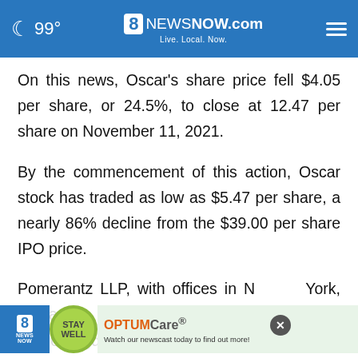99° 8 News Now .com Live. Local. Now.
On this news, Oscar's share price fell $4.05 per share, or 24.5%, to close at 12.47 per share on November 11, 2021.
By the commencement of this action, Oscar stock has traded as low as $5.47 per share, a nearly 86% decline from the $39.00 per share IPO price.
Pomerantz LLP, with offices in New York, Chicago, and Tel Aviv, is acknowledged as one of the premier firms in the